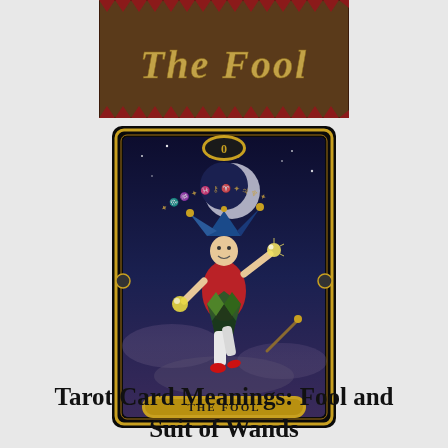[Figure (illustration): Top portion of a tarot card banner reading 'The Fool' in decorative stylized gold lettering on a dark brown/red background with diamond pattern borders.]
[Figure (illustration): Full tarot card illustration titled 'THE FOOL' (numbered 0). Shows a jester/fool figure in colorful harlequin costume with a blue jester hat, leaping dynamically against a night sky with moon, stars and clouds. He holds glowing orbs and a wand. The card has a black background with ornate gold border, an oval gold cartouche with '0' at top, and a gold banner reading 'THE FOOL' at the bottom.]
Tarot Card Meanings: Fool and Suit of Wands